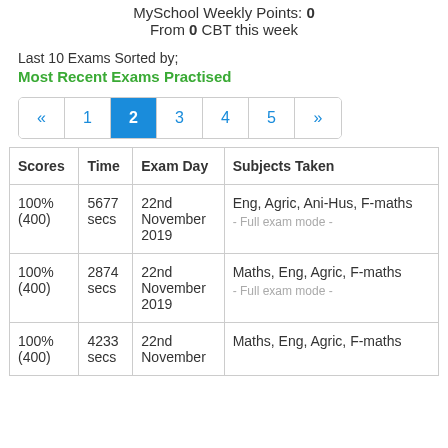MySchool Weekly Points: 0
From 0 CBT this week
Last 10 Exams Sorted by;
Most Recent Exams Practised
« 1 2 3 4 5 »
| Scores | Time | Exam Day | Subjects Taken |
| --- | --- | --- | --- |
| 100% (400) | 5677 secs | 22nd November 2019 | Eng, Agric, Ani-Hus, F-maths
- Full exam mode - |
| 100% (400) | 2874 secs | 22nd November 2019 | Maths, Eng, Agric, F-maths
- Full exam mode - |
| 100% (400) | 4233 secs | 22nd November | Maths, Eng, Agric, F-maths |